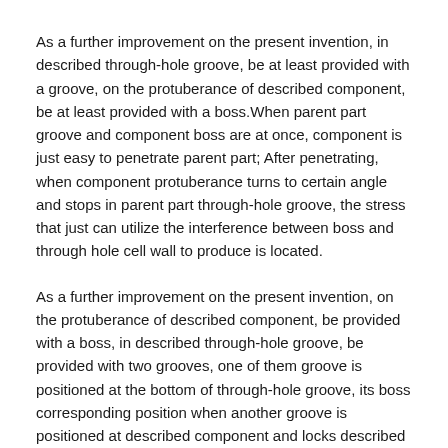As a further improvement on the present invention, in described through-hole groove, be at least provided with a groove, on the protuberance of described component, be at least provided with a boss.When parent part groove and component boss are at once, component is just easy to penetrate parent part; After penetrating, when component protuberance turns to certain angle and stops in parent part through-hole groove, the stress that just can utilize the interference between boss and through hole cell wall to produce is located.
As a further improvement on the present invention, on the protuberance of described component, be provided with a boss, in described through-hole groove, be provided with two grooves, one of them groove is positioned at the bottom of through-hole groove, its boss corresponding position when another groove is positioned at described component and locks described display material.
As a further improvement on the present invention, described another groove is greater than described component boss with respect to the angle of its central axis from the cross-section of its central axis front view.